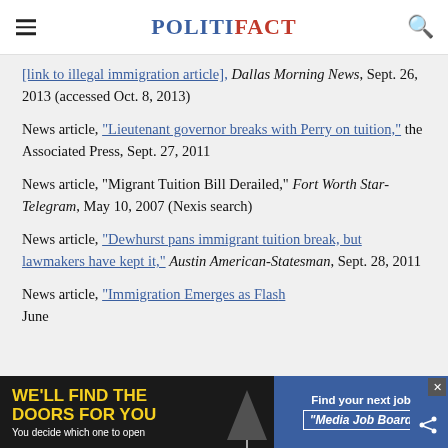POLITIFACT
News article, [link text cut off] Dallas Morning News, Sept. 26, 2013 (accessed Oct. 8, 2013)
News article, "Lieutenant governor breaks with Perry on tuition," the Associated Press, Sept. 27, 2011
News article, "Migrant Tuition Bill Derailed," Fort Worth Star-Telegram, May 10, 2007 (Nexis search)
News article, "Dewhurst pans immigrant tuition break, but lawmakers have kept it," Austin American-Statesman, Sept. 28, 2011
News article, "Immigration Emerges as Flas[h...]" June [...]